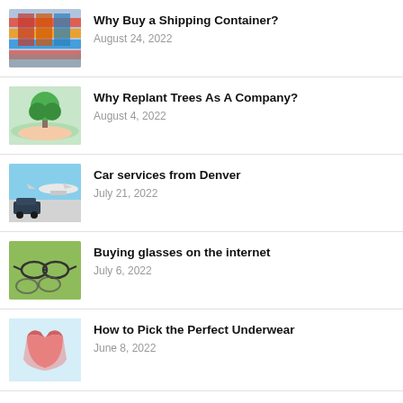Why Buy a Shipping Container?
August 24, 2022
Why Replant Trees As A Company?
August 4, 2022
Car services from Denver
July 21, 2022
Buying glasses on the internet
July 6, 2022
How to Pick the Perfect Underwear
June 8, 2022